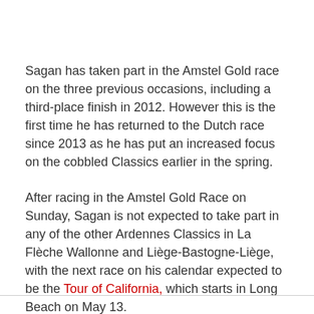Sagan has taken part in the Amstel Gold race on the three previous occasions, including a third-place finish in 2012. However this is the first time he has returned to the Dutch race since 2013 as he has put an increased focus on the cobbled Classics earlier in the spring.
After racing in the Amstel Gold Race on Sunday, Sagan is not expected to take part in any of the other Ardennes Classics in La Flèche Wallonne and Liège-Bastogne-Liège, with the next race on his calendar expected to be the Tour of California, which starts in Long Beach on May 13.